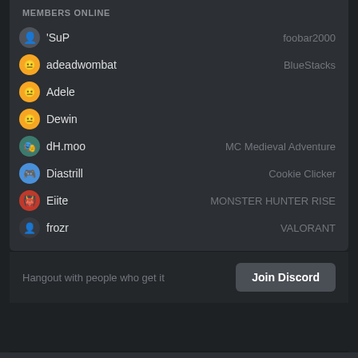MEMBERS ONLINE
'SuP — foobar2000
adeadwombat — BlueStacks
Adele
Dewin
dH.moo — MC Medieval Adventure
Diastrill — Cookie Clicker
Eiite — MONSTER HUNTER RISE
frozr — VALORANT
Hangout with people who get it  [Join Discord]
Board index  ✓ 🔒 ℹ 🗑  All times are UTC
Powered by PokerTH  [Donate] [VISA] [MC] [AMEX] [DISC]